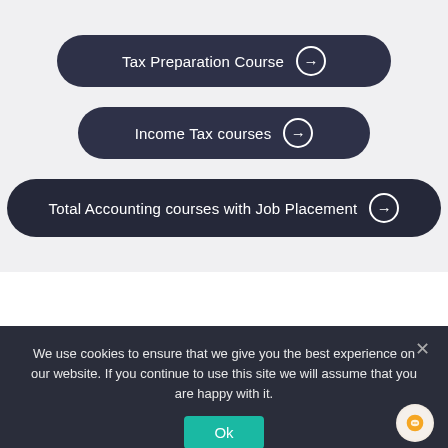Tax Preparation Course →
Income Tax courses →
Total Accounting courses with Job Placement →
We use cookies to ensure that we give you the best experience on our website. If you continue to use this site we will assume that you are happy with it.
Ok